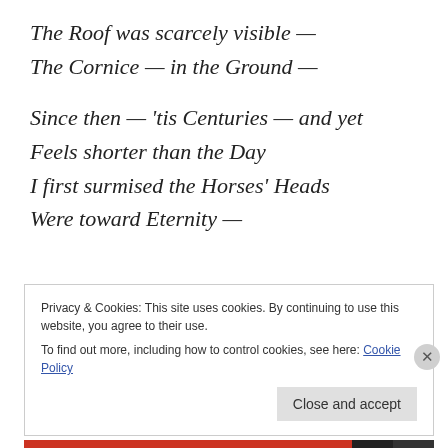The Roof was scarcely visible —
The Cornice — in the Ground —

Since then — 'tis Centuries — and yet
Feels shorter than the Day
I first surmised the Horses' Heads
Were toward Eternity —
[Figure (logo): AUTOMATTIC logo with tagline: Build a better web and a better world.]
REPORT THIS AD
Privacy & Cookies: This site uses cookies. By continuing to use this website, you agree to their use.
To find out more, including how to control cookies, see here: Cookie Policy
Close and accept